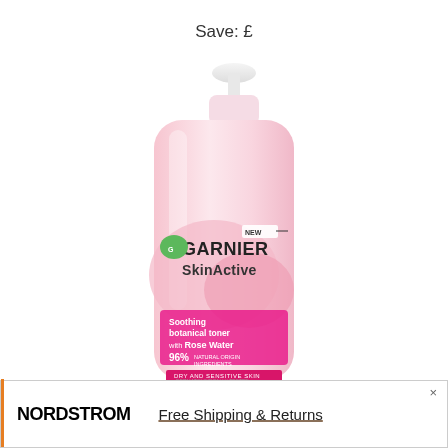Save: £
[Figure (photo): Garnier SkinActive Soothing botanical toner with Rose Water 96% natural origin ingredients, dry and sensitive skin, dermatologically tested. Pink bottle with white pump cap.]
[Figure (infographic): Nordstrom advertisement banner: 'NORDSTROM  Free Shipping & Returns' with orange accent bar and close button (×)]